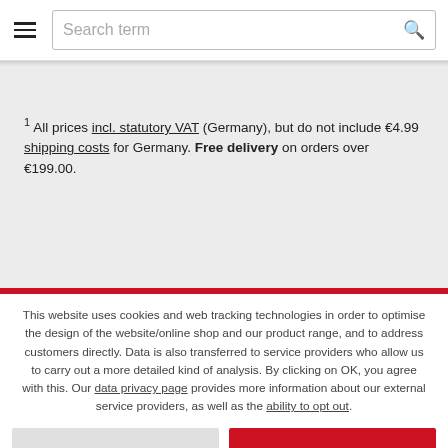Search term
1 All prices incl. statutory VAT (Germany), but do not include €4.99 shipping costs for Germany. Free delivery on orders over €199.00.
This website uses cookies and web tracking technologies in order to optimise the design of the website/online shop and our product range, and to address customers directly. Data is also transferred to service providers who allow us to carry out a more detailed kind of analysis. By clicking on OK, you agree with this. Our data privacy page provides more information about our external service providers, as well as the ability to opt out.
DECLINE
OK